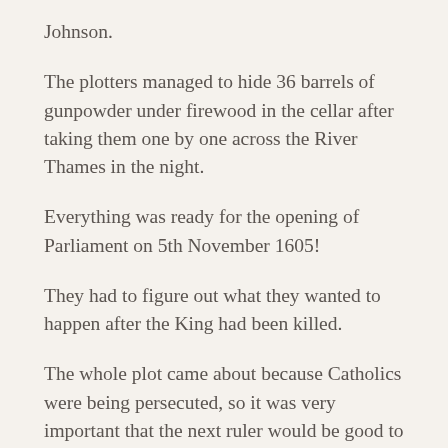Johnson.
The plotters managed to hide 36 barrels of gunpowder under firewood in the cellar after taking them one by one across the River Thames in the night.
Everything was ready for the opening of Parliament on 5th November 1605!
They had to figure out what they wanted to happen after the King had been killed.
The whole plot came about because Catholics were being persecuted, so it was very important that the next ruler would be good to Catholics. They decided that Princess Elizabeth, one of King James' daughters, should become Queen after the explosion. They